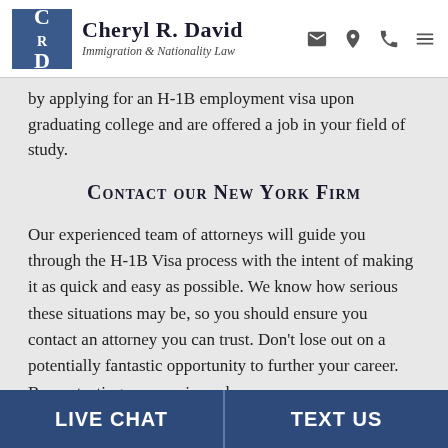Cheryl R. David Immigration & Nationality Law
by applying for an H-1B employment visa upon graduating college and are offered a job in your field of study.
Contact our New York Firm
Our experienced team of attorneys will guide you through the H-1B Visa process with the intent of making it as quick and easy as possible. We know how serious these situations may be, so you should ensure you contact an attorney you can trust. Don't lose out on a potentially fantastic opportunity to further your career. By contacting an experienced
LIVE CHAT   TEXT US